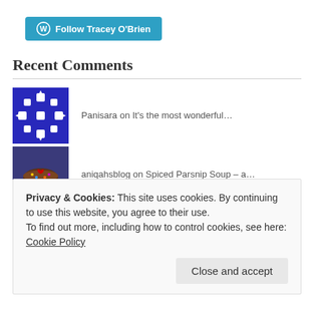[Figure (other): WordPress Follow button: 'Follow Tracey O'Brien' in teal/blue with WordPress logo]
Recent Comments
Panisara on It's the most wonderful…
aniqahsblog on Spiced Parsnip Soup – a…
Ron on Italy is calling me . . .
Privacy & Cookies: This site uses cookies. By continuing to use this website, you agree to their use. To find out more, including how to control cookies, see here: Cookie Policy
Close and accept